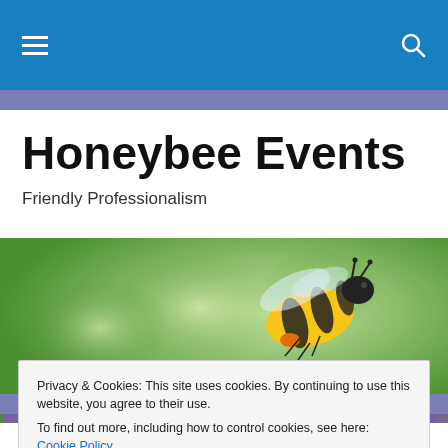Honeybee Events — navigation bar with hamburger menu and search icon
Honeybee Events
Friendly Professionalism
[Figure (photo): A close-up photograph of a honeybee with yellow and black stripes and an orange pollen basket, hovering above purple flowers against a blurred green background.]
Privacy & Cookies: This site uses cookies. By continuing to use this website, you agree to their use.
To find out more, including how to control cookies, see here: Cookie Policy
Close and accept